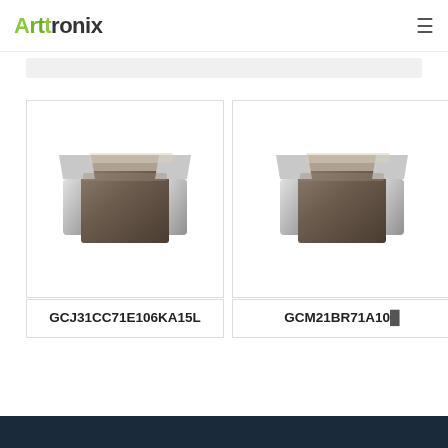Arttronix
[Figure (photo): SMD ceramic capacitor product photo for GCJ31CC71E106KA15L]
GCJ31CC71E106KA15L
[Figure (photo): SMD ceramic capacitor product photo for GCM21BR71A10...]
GCM21BR71A10...